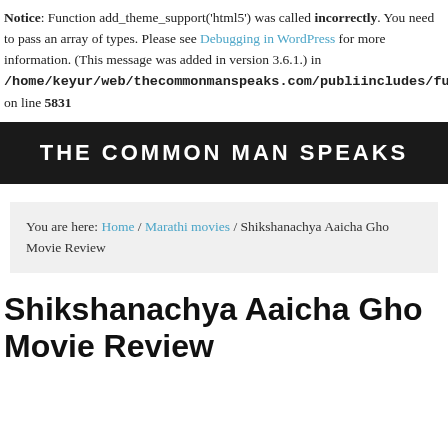Notice: Function add_theme_support('html5') was called incorrectly. You need to pass an array of types. Please see Debugging in WordPress for more information. (This message was added in version 3.6.1.) in /home/keyur/web/thecommonmanspeaks.com/public_html/wp-includes/functions.php on line 5831
THE COMMON MAN SPEAKS
You are here: Home / Marathi movies / Shikshanachya Aaicha Gho Movie Review
Shikshanachya Aaicha Gho Movie Review